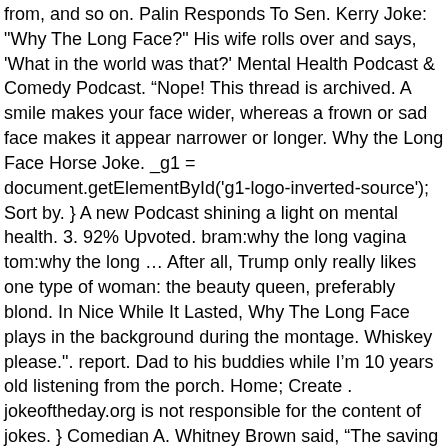from, and so on. Palin Responds To Sen. Kerry Joke: "Why The Long Face?" His wife rolls over and says, 'What in the world was that?' Mental Health Podcast & Comedy Podcast. “Nope! This thread is archived. A smile makes your face wider, whereas a frown or sad face makes it appear narrower or longer. Why the Long Face Horse Joke. _g1 = document.getElementById('g1-logo-inverted-source'); Sort by. } A new Podcast shining a light on mental health. 3. 92% Upvoted. bram:why the long vagina tom:why the long … After all, Trump only really likes one type of woman: the beauty queen, preferably blond. In Nice While It Lasted, Why The Long Face plays in the background during the montage. Whiskey please.". report. Dad to his buddies while I'm 10 years old listening from the porch. Home; Create . jokeoftheday.org is not responsible for the content of jokes. } Comedian A. Whitney Brown said, “The saving grace of humor is, if you fail, at least you don't have anyone laughing at you.” Take a break—here, for better or worse, are some favorite stories and jokes. A gorilla walks into a bar and asks the bartender for a drink. Formerly at Jezebel. He left the studio and was wandering around L.A. he found a local bar, and went in to get a drink to ease his mind. The bartender looks shocked and says, “I’m sorry I can't help you kill yourself.” A horse walks into a bar - A horse walks into a